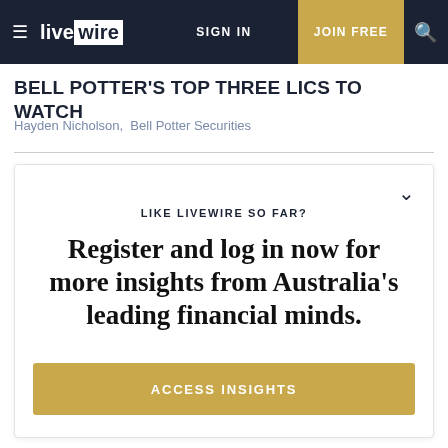livewire | SIGN IN | JOIN FREE
BELL POTTER'S TOP THREE LICS TO WATCH
Hayden Nicholson,  Bell Potter Securities
LIKE LIVEWIRE SO FAR?
Register and log in now for more insights from Australia's leading financial minds.
FREE TO JOIN
ACCESS INSIGHTS